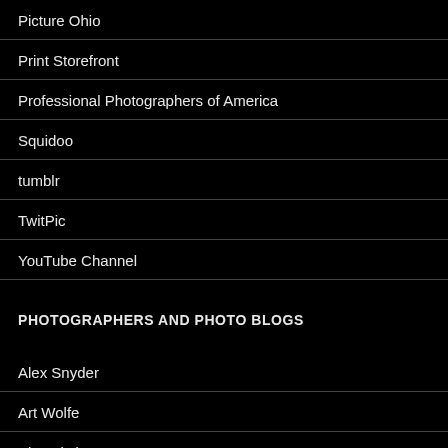Picture Ohio
Print Storefront
Professional Photographers of America
Squidoo
tumblr
TwitPic
YouTube Channel
PHOTOGRAPHERS AND PHOTO BLOGS
Alex Snyder
Art Wolfe
Blog Listings